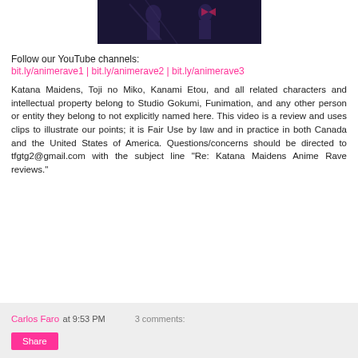[Figure (screenshot): Anime screenshot thumbnail showing characters with dark background]
Follow our YouTube channels:
bit.ly/animerave1 | bit.ly/animerave2 | bit.ly/animerave3
Katana Maidens, Toji no Miko, Kanami Etou, and all related characters and intellectual property belong to Studio Gokumi, Funimation, and any other person or entity they belong to not explicitly named here. This video is a review and uses clips to illustrate our points; it is Fair Use by law and in practice in both Canada and the United States of America. Questions/concerns should be directed to tfgtg2@gmail.com with the subject line "Re: Katana Maidens Anime Rave reviews."
Carlos Faro at 9:53 PM    3 comments:
Share